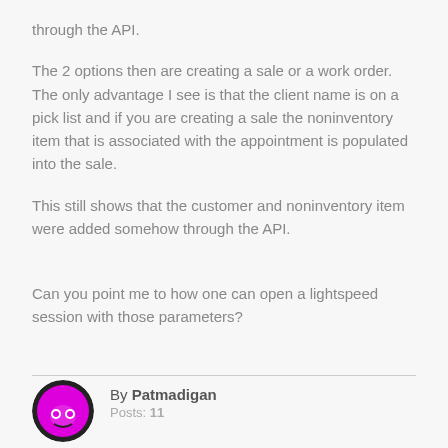through the API.
The 2 options then are creating a sale or a work order. The only advantage I see is that the client name is on a pick list and if you are creating a sale the noninventory item that is associated with the appointment is populated into the sale.
This still shows that the customer and noninventory item were added somehow through the API.
Can you point me to how one can open a lightspeed session with those parameters?
By Patmadigan
Posts: 11